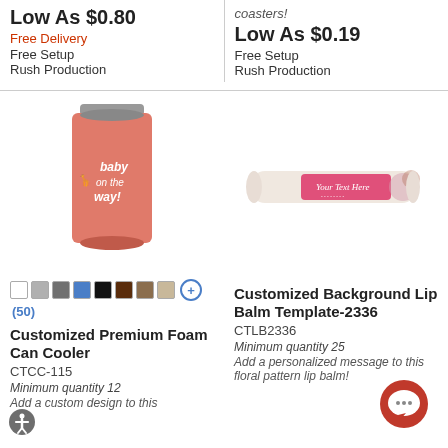Low As $0.80
Free Delivery
Free Setup
Rush Production
coasters!
Low As $0.19
Free Setup
Rush Production
[Figure (photo): Pink foam can cooler with 'baby on the way!' giraffe design on a soda can]
[Figure (photo): White lip balm tube with pink floral 'Your Text Here' label]
Customized Premium Foam Can Cooler
CTCC-115
Minimum quantity 12
Add a custom design to this
Customized Background Lip Balm Template-2336
CTLB2336
Minimum quantity 25
Add a personalized message to this floral pattern lip balm!